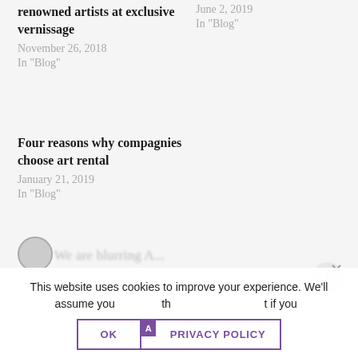renowned artists at exclusive vernissage
November 26, 2018
In "Blog"
June 2, 2019
In "Blog"
Four reasons why compagnies choose art rental
January 21, 2019
In "Blog"
This website uses cookies to improve your experience. We'll assume you're ok with this, but if you wish.